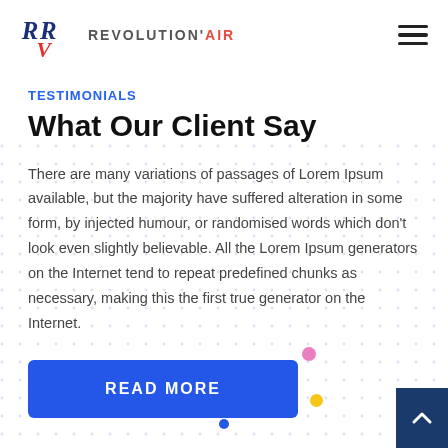REVOLUTION'AIR
TESTIMONIALS
What Our Client Say
There are many variations of passages of Lorem Ipsum available, but the majority have suffered alteration in some form, by injected humour, or randomised words which don't look even slightly believable. All the Lorem Ipsum generators on the Internet tend to repeat predefined chunks as necessary, making this the first true generator on the Internet.
READ MORE